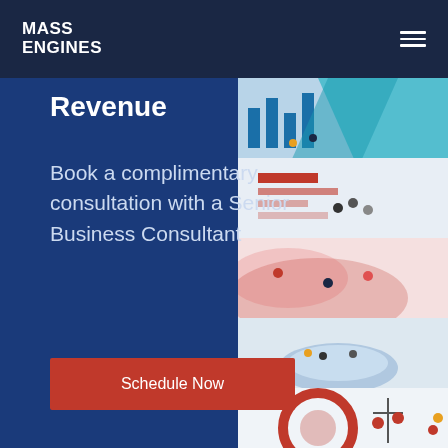MASS ENGINES
Revenue
Book a complimentary consultation with a Senior Business Consultant
Schedule Now
[Figure (illustration): Colorful vertical strip of business/city illustration panels on the right side of the page]